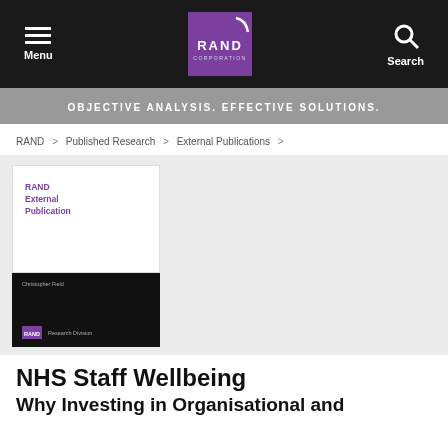Menu | RAND Corporation | Search
OBJECTIVE ANALYSIS. EFFECTIVE SOLUTIONS.
RAND > Published Research > External Publications >
[Figure (illustration): RAND External Publication book cover — white top half with purple 'RAND External Publication' text, black bottom half with author name Christopher Field and RAND Research Division logo]
NHS Staff Wellbeing
Why Investing in Organisational and